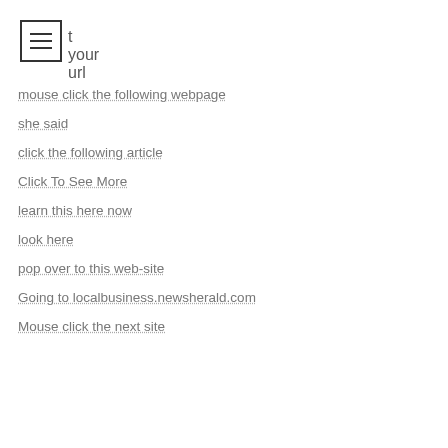visit your url
mouse click the following webpage
she said
click the following article
Click To See More
learn this here now
look here
pop over to this web-site
Going to localbusiness.newsherald.com
Mouse click the next site